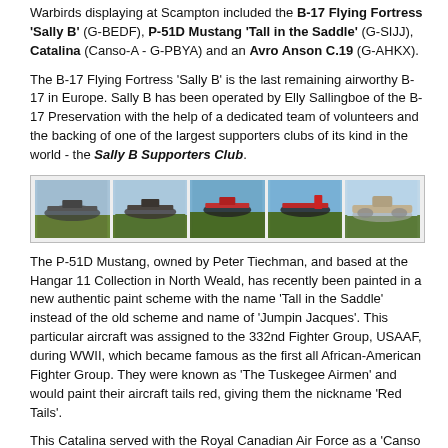Warbirds displaying at Scampton included the B-17 Flying Fortress 'Sally B' (G-BEDF), P-51D Mustang 'Tall in the Saddle' (G-SIJJ), Catalina (Canso-A - G-PBYA) and an Avro Anson C.19 (G-AHKX).
The B-17 Flying Fortress 'Sally B' is the last remaining airworthy B-17 in Europe. Sally B has been operated by Elly Sallingboe of the B-17 Preservation with the help of a dedicated team of volunteers and the backing of one of the largest supporters clubs of its kind in the world - the Sally B Supporters Club.
[Figure (photo): A strip of five photographs showing vintage warbird aircraft in flight or taxiing, including B-17 Flying Fortress, P-51D Mustang with red tail, and Catalina flying boat.]
The P-51D Mustang, owned by Peter Tiechman, and based at the Hangar 11 Collection in North Weald, has recently been painted in a new authentic paint scheme with the name 'Tall in the Saddle' instead of the old scheme and name of 'Jumpin Jacques'. This particular aircraft was assigned to the 332nd Fighter Group, USAAF, during WWII, which became famous as the first all African-American Fighter Group. They were known as 'The Tuskegee Airmen' and would paint their aircraft tails red, giving them the nickname 'Red Tails'.
This Catalina served with the Royal Canadian Air Force as a 'Canso A